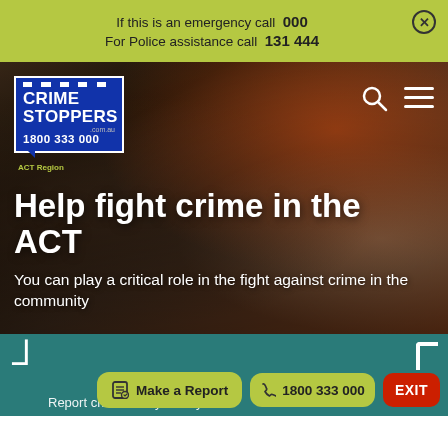If this is an emergency call 000  For Police assistance call 131 444
[Figure (screenshot): Crime Stoppers logo — blue shield badge with white checkered border, text CRIME STOPPERS, .com.au, 1800 333 000, ACT Region]
Help fight crime in the ACT
You can play a critical role in the fight against crime in the community
Report crime anonymously here
Make a Report
1800 333 000
EXIT